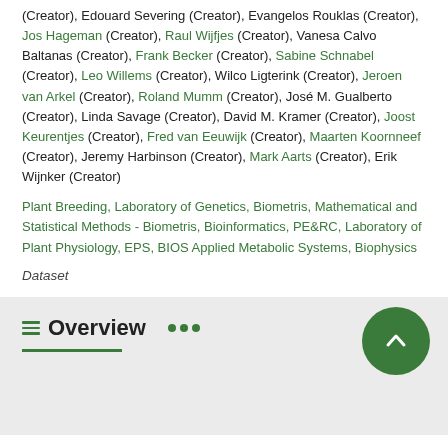(Creator), Edouard Severing (Creator), Evangelos Rouklas (Creator), Jos Hageman (Creator), Raul Wijfjes (Creator), Vanesa Calvo Baltanas (Creator), Frank Becker (Creator), Sabine Schnabel (Creator), Leo Willems (Creator), Wilco Ligterink (Creator), Jeroen van Arkel (Creator), Roland Mumm (Creator), José M. Gualberto (Creator), Linda Savage (Creator), David M. Kramer (Creator), Joost Keurentjes (Creator), Fred van Eeuwijk (Creator), Maarten Koornneef (Creator), Jeremy Harbinson (Creator), Mark Aarts (Creator), Erik Wijnker (Creator)
Plant Breeding, Laboratory of Genetics, Biometris, Mathematical and Statistical Methods - Biometris, Bioinformatics, PE&RC, Laboratory of Plant Physiology, EPS, BIOS Applied Metabolic Systems, Biophysics
Dataset
Overview